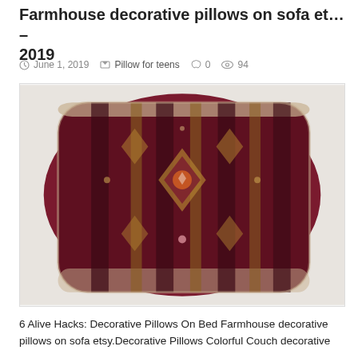Farmhouse decorative pillows on sofa et… – 2019
June 1, 2019   Pillow for teens   0   94
[Figure (photo): A decorative kilim-style pillow with colorful geometric and floral patterns on a dark burgundy background, photographed on a white surface.]
6 Alive Hacks: Decorative Pillows On Bed Farmhouse decorative pillows on sofa etsy.Decorative Pillows Colorful Couch decorative